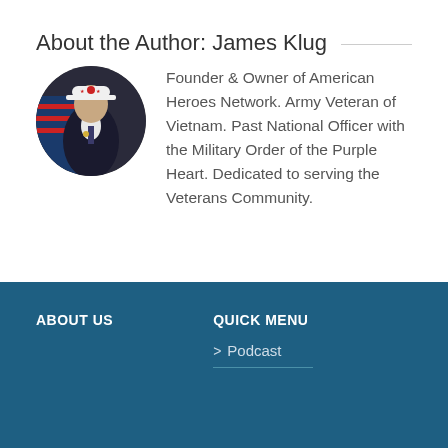About the Author: James Klug
[Figure (photo): Circular portrait photo of James Klug wearing a white VFW hat, dark suit with tie and medals, with an American flag in the background]
Founder & Owner of American Heroes Network. Army Veteran of Vietnam. Past National Officer with the Military Order of the Purple Heart. Dedicated to serving the Veterans Community.
ABOUT US
QUICK MENU
> Podcast